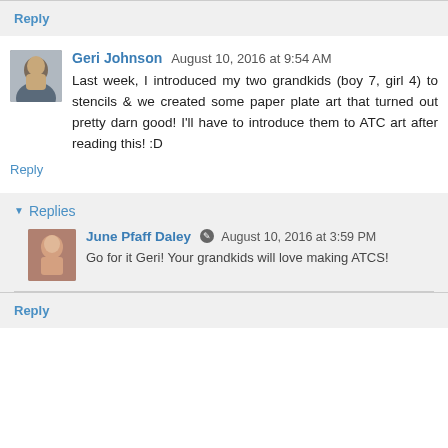Reply
Geri Johnson August 10, 2016 at 9:54 AM
Last week, I introduced my two grandkids (boy 7, girl 4) to stencils & we created some paper plate art that turned out pretty darn good! I'll have to introduce them to ATC art after reading this! :D
Reply
Replies
June Pfaff Daley August 10, 2016 at 3:59 PM
Go for it Geri! Your grandkids will love making ATCS!
Reply